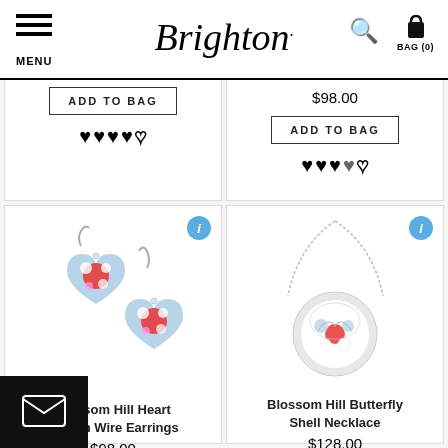MENU | Brighton | Search | BAG (0)
$98.00
$98.00
ADD TO BAG
ADD TO BAG
[Figure (photo): Blossom Hill Heart French Wire Earrings - heart-shaped floral enamel earrings with red roses on blue background]
Blossom Hill Heart French Wire Earrings
$98.00
[Figure (photo): Blossom Hill Butterfly Shell Necklace - round pendant with floral design on silver chain]
Blossom Hill Butterfly Shell Necklace
$128.00